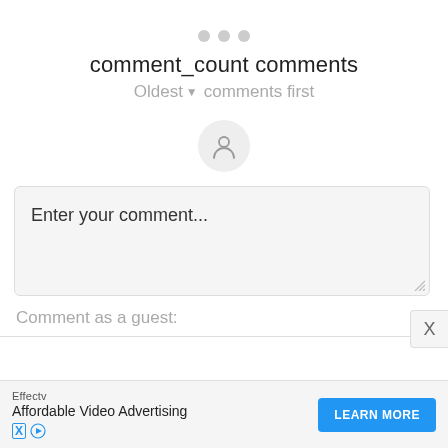[Figure (other): Three gray dots in a row (loading/menu indicator)]
comment_count comments
Oldest ▼  comments first
[Figure (other): Gray circle with a person/user silhouette icon]
Enter your comment...
Comment as a guest:
[Figure (other): Advertisement bar: Effectv — Affordable Video Advertising — LEARN MORE button]